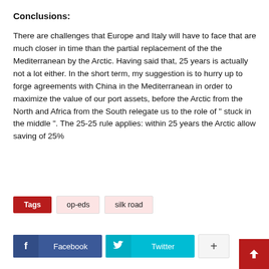Conclusions:
There are challenges that Europe and Italy will have to face that are much closer in time than the partial replacement of the the Mediterranean by the Arctic. Having said that, 25 years is actually not a lot either. In the short term, my suggestion is to hurry up to forge agreements with China in the Mediterranean in order to maximize the value of our port assets, before the Arctic from the North and Africa from the South relegate us to the role of “ stuck in the middle ”. The 25-25 rule applies: within 25 years the Arctic allow saving of 25%
Tags  op-eds  silk road
f  Facebook    Twitter    +